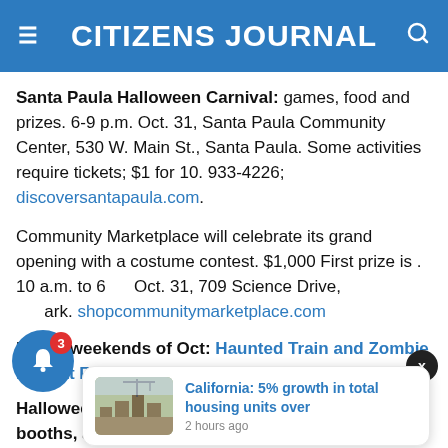CITIZENS JOURNAL
Santa Paula Halloween Carnival: games, food and prizes. 6-9 p.m. Oct. 31, Santa Paula Community Center, 530 W. Main St., Santa Paula. Some activities require tickets; $1 for 10. 933-4226; discoversantapaula.com.
Community Marketplace will celebrate its grand opening with a costume contest. $1,000 First prize is . 10 a.m. to 6 Oct. 31, 709 Science Drive, ark. shopcommunitymarketplace.com
Last 3 weekends of Oct: Haunted Train and Zombie Hunt at Fillmore & Western
Halloween Ca booths, an enc Oct. 31, Oak Park Community Center, 1000 N. Kanan Rd. Admission $1 00 818 005 0001
[Figure (screenshot): Popup notification card: construction site image thumbnail, headline 'California: 5% growth in total housing units over', timestamp '2 hours ago']